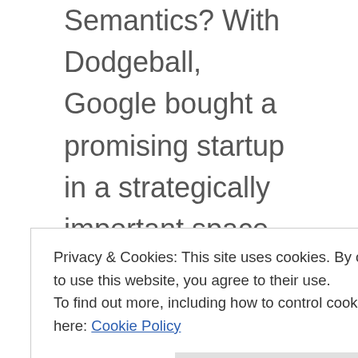Semantics? With Dodgeball, Google bought a promising startup in a strategically important space, but instead of integrating the technology and committing, it let it languish (the founders left and started Foursquare). Google later determined it must play in the space, and rolled out any number of features inside its mobile, map, and even Gmail products that
Privacy & Cookies: This site uses cookies. By continuing to use this website, you agree to their use.
To find out more, including how to control cookies, see here: Cookie Policy
Close and accept
strategically important space, but this